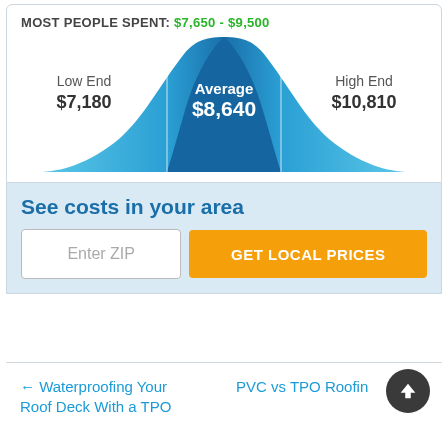MOST PEOPLE SPENT: $7,650 - $9,500
[Figure (continuous-plot): Bell curve distribution chart showing Low End $7,180, Average $8,640, High End $10,810 cost ranges. The curve is blue/teal colored with a darker blue center band for the average range.]
See costs in your area
Enter ZIP
GET LOCAL PRICES
← Waterproofing Your Roof Deck With a TPO
PVC vs TPO Roofing